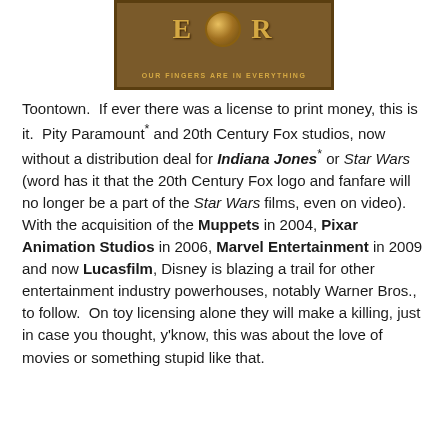[Figure (photo): A wooden sign with gold lettering reading partial text 'E...UR' and the tagline 'OUR FINGERS ARE IN EVERYTHING' with a decorative coin/medallion in the center.]
Toontown.  If ever there was a license to print money, this is it.  Pity Paramount* and 20th Century Fox studios, now without a distribution deal for Indiana Jones* or Star Wars (word has it that the 20th Century Fox logo and fanfare will no longer be a part of the Star Wars films, even on video). With the acquisition of the Muppets in 2004, Pixar Animation Studios in 2006, Marvel Entertainment in 2009 and now Lucasfilm, Disney is blazing a trail for other entertainment industry powerhouses, notably Warner Bros., to follow.  On toy licensing alone they will make a killing, just in case you thought, y'know, this was about the love of movies or something stupid like that.